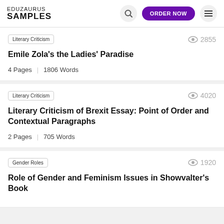EDUZAURUS SAMPLES | ORDER NOW
Literary Criticism | 2855 views
Emile Zola's the Ladies' Paradise
4 Pages | 1806 Words
Literary Criticism | 4020 views
Literary Criticism of Brexit Essay: Point of Order and Contextual Paragraphs
2 Pages | 705 Words
Gender Roles | 1920 views
Role of Gender and Feminism Issues in Showvalter's Book